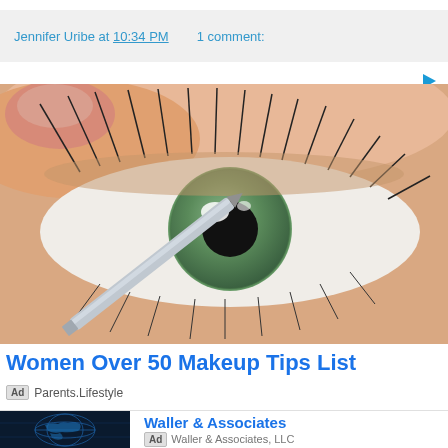Jennifer Uribe at 10:34 PM   1 comment:
[Figure (photo): Close-up photo of a green eye with long lashes being lined with a silver eyeliner pencil or brush, held by fingers with a manicured nail]
Women Over 50 Makeup Tips List
Ad  Parents.Lifestyle
[Figure (photo): Dark globe/world map graphic with glowing blue lines]
Waller & Associates
Ad  Waller & Associates, LLC